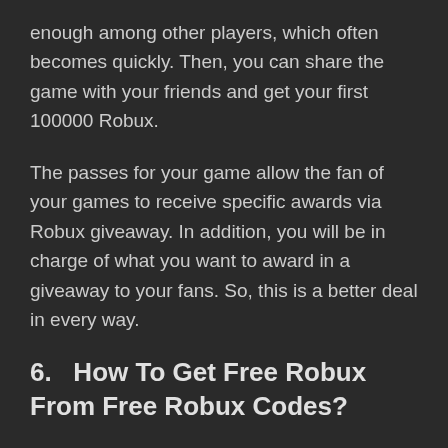enough among other players, which often becomes quickly. Then, you can share the game with your friends and get your first 100000 Robux.
The passes for your game allow the fan of your games to receive specific awards via Robux giveaway. In addition, you will be in charge of what you want to award in a giveaway to your fans. So, this is a better deal in every way.
6.   How To Get Free Robux From Free Robux Codes?
Are the Free Robux Codes actually a thing? Fortunately, yes!